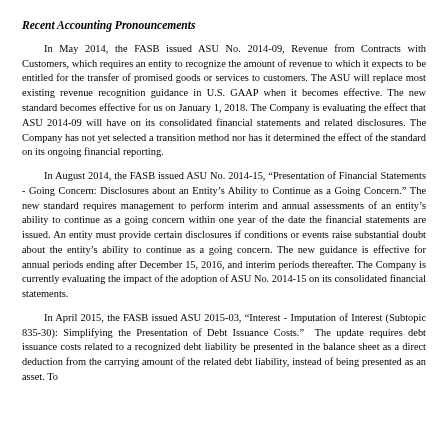Recent Accounting Pronouncements
In May 2014, the FASB issued ASU No. 2014-09, Revenue from Contracts with Customers, which requires an entity to recognize the amount of revenue to which it expects to be entitled for the transfer of promised goods or services to customers. The ASU will replace most existing revenue recognition guidance in U.S. GAAP when it becomes effective. The new standard becomes effective for us on January 1, 2018. The Company is evaluating the effect that ASU 2014-09 will have on its consolidated financial statements and related disclosures. The Company has not yet selected a transition method nor has it determined the effect of the standard on its ongoing financial reporting.
In August 2014, the FASB issued ASU No. 2014-15, “Presentation of Financial Statements - Going Concern: Disclosures about an Entity’s Ability to Continue as a Going Concern.” The new standard requires management to perform interim and annual assessments of an entity’s ability to continue as a going concern within one year of the date the financial statements are issued. An entity must provide certain disclosures if conditions or events raise substantial doubt about the entity’s ability to continue as a going concern. The new guidance is effective for annual periods ending after December 15, 2016, and interim periods thereafter. The Company is currently evaluating the impact of the adoption of ASU No. 2014-15 on its consolidated financial statements.
In April 2015, the FASB issued ASU 2015-03, “Interest - Imputation of Interest (Subtopic 835-30): Simplifying the Presentation of Debt Issuance Costs.” The update requires debt issuance costs related to a recognized debt liability be presented in the balance sheet as a direct deduction from the carrying amount of the related debt liability, instead of being presented as an asset. To...